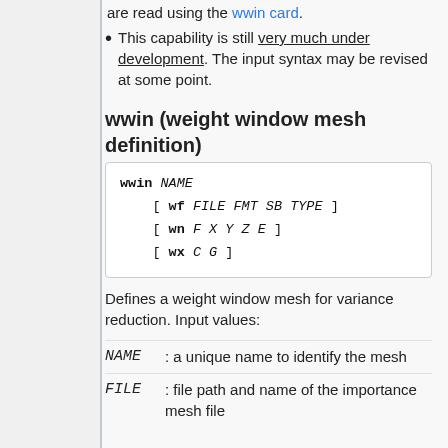are read using the wwin card.
This capability is still very much under development. The input syntax may be revised at some point.
wwin (weight window mesh definition)
Defines a weight window mesh for variance reduction. Input values:
| Term | Definition |
| --- | --- |
| NAME | : a unique name to identify the mesh |
| FILE | : file path and name of the importance mesh file |